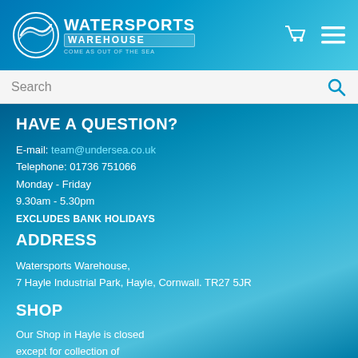[Figure (logo): Watersports Warehouse logo with circular wave icon and tagline 'Come as out of the sea']
Search
HAVE A QUESTION?
E-mail: team@undersea.co.uk
Telephone: 01736 751066
Monday - Friday
9.30am - 5.30pm
EXCLUDES BANK HOLIDAYS
ADDRESS
Watersports Warehouse,
7 Hayle Industrial Park, Hayle, Cornwall. TR27 5JR
SHOP
Our Shop in Hayle is closed
except for collection of